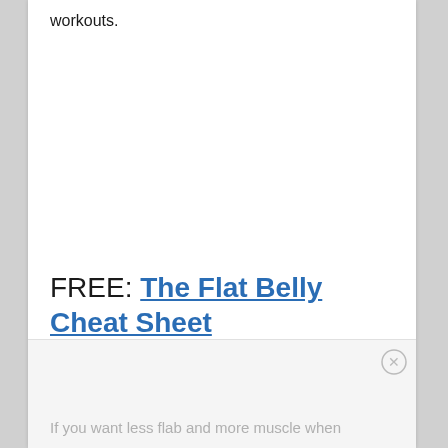workouts.
FREE: The Flat Belly Cheat Sheet
If you want less flab and more muscle when